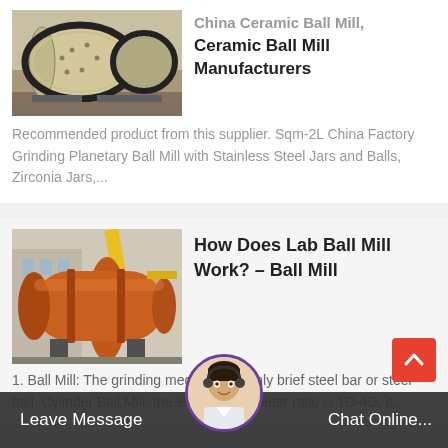[Figure (photo): Photo of a large industrial ceramic ball mill machine in grey/beige color with black gear rings]
China Ceramic Ball Mill, Ceramic Ball Mill Manufacturers
Recommended product from this supplier. Sqm-2L China Factory Grinding Planetary Ball Mill with Stainless Steel Jars and Balls, Zirconia Jars,...
[Figure (photo): Photo of an orange industrial lab ball mill machine outdoors with yellow crane/equipment in background]
How Does Lab Ball Mill Work? - Ball Mill
1. Ball Mill: The grinding medium is mainly brief steel bar or steel ball. Cylinder Ball Mill: the length to diameter ratio is 1D-4D, it...
Leave Message    Chat Online...